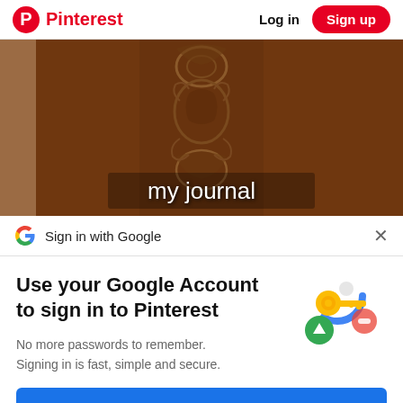Pinterest  Log in  Sign up
[Figure (photo): A brown leather journal with embossed decorative pattern, text overlay 'my journal']
Sign in with Google
Use your Google Account to sign in to Pinterest
No more passwords to remember. Signing in is fast, simple and secure.
[Figure (illustration): Google passkey illustration with golden key and colorful circular icons]
Continue